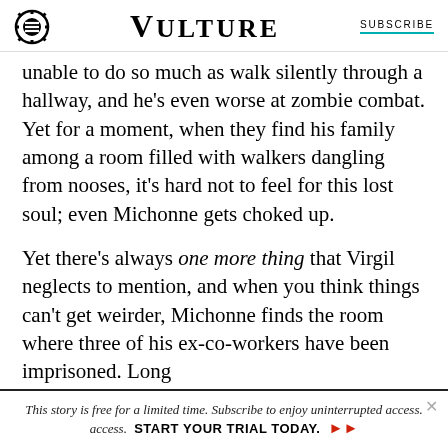VULTURE | SUBSCRIBE
unable to do so much as walk silently through a hallway, and he's even worse at zombie combat. Yet for a moment, when they find his family among a room filled with walkers dangling from nooses, it's hard not to feel for this lost soul; even Michonne gets choked up.
Yet there's always one more thing that Virgil neglects to mention, and when you think things can't get weirder, Michonne finds the room where three of his ex-co-workers have been imprisoned. Long
This story is free for a limited time. Subscribe to enjoy uninterrupted access. START YOUR TRIAL TODAY.